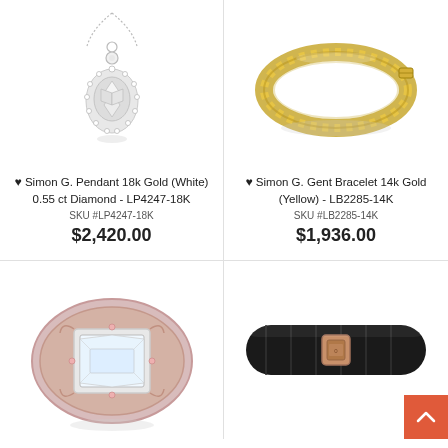[Figure (photo): Diamond pendant necklace with teardrop halo in white gold/silver on chain]
♥ Simon G. Pendant 18k Gold (White) 0.55 ct Diamond - LP4247-18K
SKU #LP4247-18K
$2,420.00
[Figure (photo): Yellow gold woven bracelet, Simon G. Gent Bracelet 14k Gold Yellow]
♥ Simon G. Gent Bracelet 14k Gold (Yellow) - LB2285-14K
SKU #LB2285-14K
$1,936.00
[Figure (photo): Ornate rose gold and white gold emerald cut diamond ring with halo]
[Figure (photo): Dark leather/rubber bracelet with rose gold clasp closure]